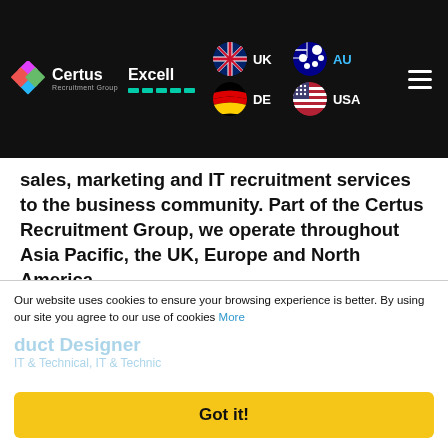Certus Recruitment Group — Excell | UK | DE | AU | USA
sales, marketing and IT recruitment services to the business community. Part of the Certus Recruitment Group, we operate throughout Asia Pacific, the UK, Europe and North America.
⚠ Job has Expired
Latest Jobs
Our website uses cookies to ensure your browsing experience is better. By using our site you agree to our use of cookies More
Got it!